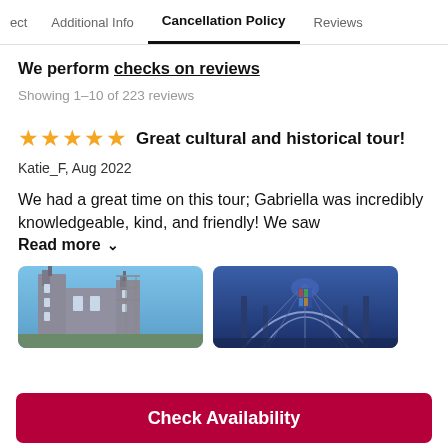ect   Additional Info   Cancellation Policy   Reviews
We perform checks on reviews
Showing 1-10 of 223 reviews
★★★★★  Great cultural and historical tour!
Katie_F, Aug 2022
We had a great time on this tour; Gabriella was incredibly knowledgeable, kind, and friendly! We saw
Read more ∨
[Figure (photo): Photo of a gothic church exterior with tower against blue sky]
[Figure (photo): Photo of ornate cathedral interior with arched ceiling and stained glass]
Check Availability